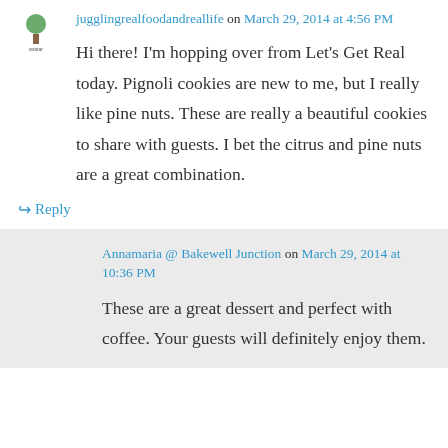jugglingrealfoodndreallife on March 29, 2014 at 4:56 PM
Hi there! I'm hopping over from Let's Get Real today. Pignoli cookies are new to me, but I really like pine nuts. These are really a beautiful cookies to share with guests. I bet the citrus and pine nuts are a great combination.
Reply
Annamaria @ Bakewell Junction on March 29, 2014 at 10:36 PM
These are a great dessert and perfect with coffee. Your guests will definitely enjoy them.